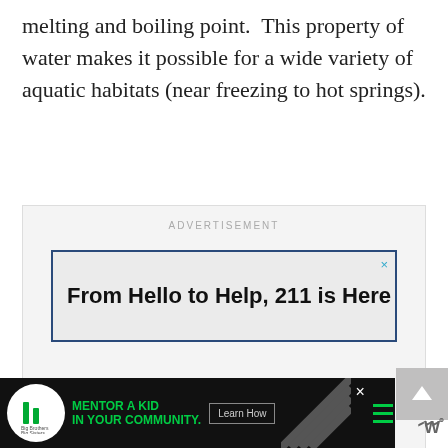melting and boiling point.  This property of water makes it possible for a wide variety of aquatic habitats (near freezing to hot springs).
[Figure (other): Advertisement banner area with label 'ADVERTISEMENT' and an ad reading 'From Hello to Help, 211 is Here' with a close button (×) in top right corner, on a light gray background with dark blue border.]
[Figure (other): Bottom advertisement banner: Big Brothers Big Sisters logo (circular, white background), green text 'MENTOR A KID IN YOUR COMMUNITY.', 'Learn How' button, diagonal stripe pattern, close (×) button, hamburger menu icon. Site wordmark 'W°' at far right.]